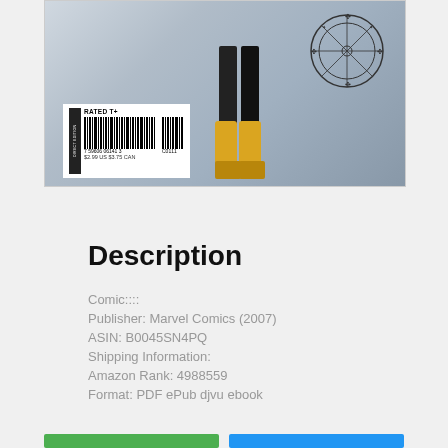[Figure (illustration): Comic book cover image showing a figure in yellow boots, with a barcode label reading 'RATED T+', price '$2.99 US $3.75 CAN', and a mystical circular symbol in the upper right. The background is light grey/blue.]
Description
Comic::::
Publisher: Marvel Comics (2007)
ASIN: B0045SN4PQ
Shipping Information:
Amazon Rank: 4988559
Format: PDF ePub djvu ebook